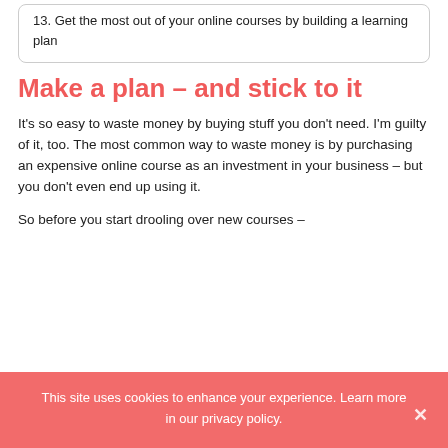13. Get the most out of your online courses by building a learning plan
Make a plan – and stick to it
It's so easy to waste money by buying stuff you don't need. I'm guilty of it, too. The most common way to waste money is by purchasing an expensive online course as an investment in your business – but you don't even end up using it.
So before you start drooling over new courses –
This site uses cookies to enhance your experience. Learn more in our privacy policy.